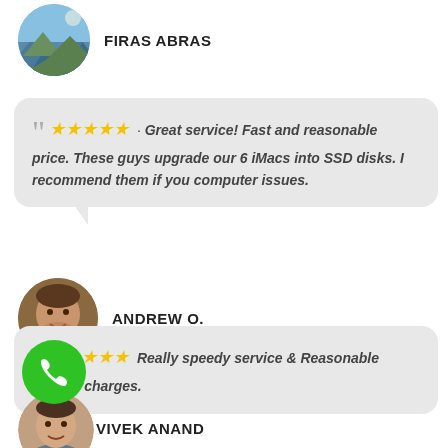[Figure (photo): Circular avatar of Firas Abras showing a scenic outdoor/mountain landscape photo]
FIRAS ABRAS
" ★★★★★ ·  Great service! Fast and reasonable price. These guys upgrade our 6 iMacs into SSD disks. I recommend them if you computer issues.
[Figure (photo): Circular avatar of Andrew O. showing a smiling man]
ANDREW O.
" ★★★★★  Really speedy service & Reasonable service charges.
VIVEK ANAND
[Figure (photo): Green circle phone/call button with white handset icon]